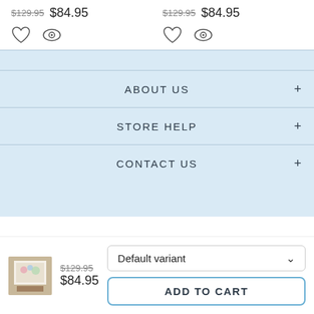$129.95  $84.95  |  $129.95  $84.95
[Figure (illustration): Heart (wishlist) icon and eye (quick view) icon, repeated twice for two product cards]
ABOUT US
STORE HELP
CONTACT US
[Figure (photo): Small product thumbnail showing a framed wall art poster on a wooden surface]
$129.95
$84.95
Default variant
ADD TO CART